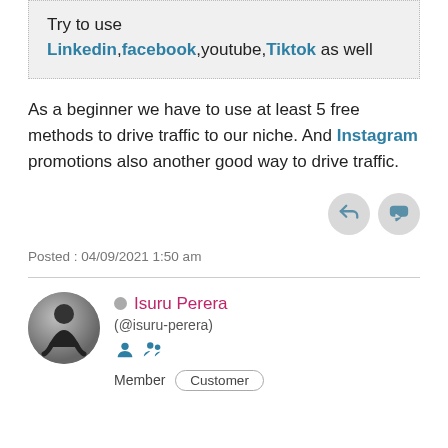Try to use Linkedin, facebook, youtube, Tiktok as well
As a beginner we have to use at least 5 free methods to drive traffic to our niche. And Instagram promotions also another good way to drive traffic.
Posted : 04/09/2021 1:50 am
Isuru Perera (@isuru-perera) Member Customer